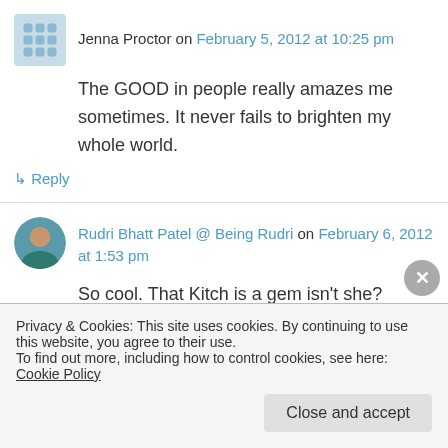Jenna Proctor on February 5, 2012 at 10:25 pm
The GOOD in people really amazes me sometimes. It never fails to brighten my whole world.
↪ Reply
Rudri Bhatt Patel @ Being Rudri on February 6, 2012 at 1:53 pm
So cool. That Kitch is a gem isn't she?
Privacy & Cookies: This site uses cookies. By continuing to use this website, you agree to their use.
To find out more, including how to control cookies, see here: Cookie Policy